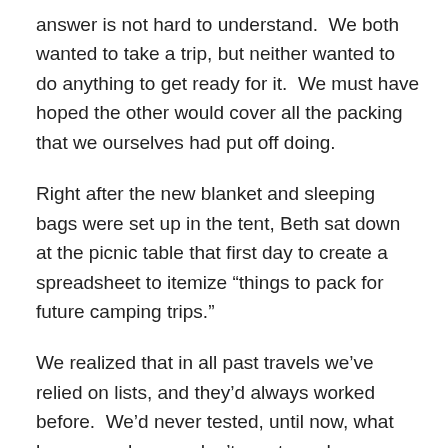answer is not hard to understand.  We both wanted to take a trip, but neither wanted to do anything to get ready for it.  We must have hoped the other would cover all the packing that we ourselves had put off doing.
Right after the new blanket and sleeping bags were set up in the tent, Beth sat down at the picnic table that first day to create a spreadsheet to itemize “things to pack for future camping trips.”
We realized that in all past travels we’ve relied on lists, and they’d always worked before.  We’d never tested, until now, what happens when we don’t create and use a list.  We can say definitely that we have now proven that everything falls apart without a well-thought out, itemized record of what-to-take with us.